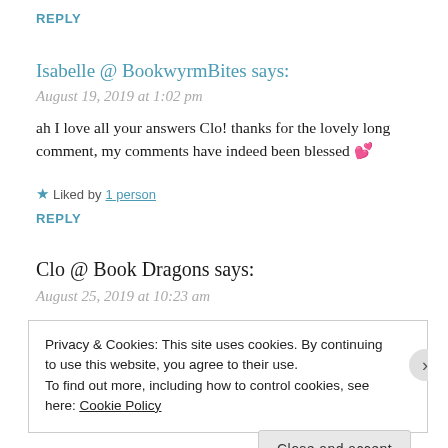REPLY
Isabelle @ BookwyrmBites says:
August 19, 2019 at 1:02 pm
ah I love all your answers Clo! thanks for the lovely long comment, my comments have indeed been blessed 💕
★ Liked by 1 person
REPLY
Clo @ Book Dragons says:
August 25, 2019 at 10:23 am
Privacy & Cookies: This site uses cookies. By continuing to use this website, you agree to their use.
To find out more, including how to control cookies, see here: Cookie Policy
Close and accept